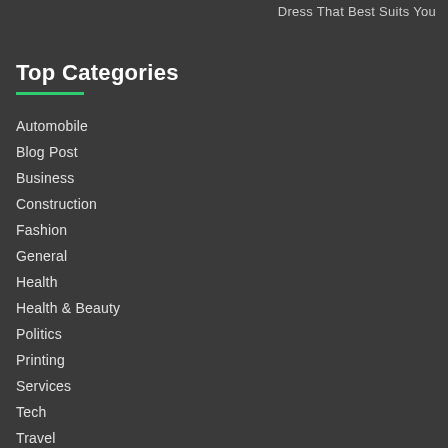Dress That Best Suits You
Top Categories
Automobile
Blog Post
Business
Construction
Fashion
General
Health
Health & Beauty
Politics
Printing
Services
Tech
Travel
Uncategorized
World News